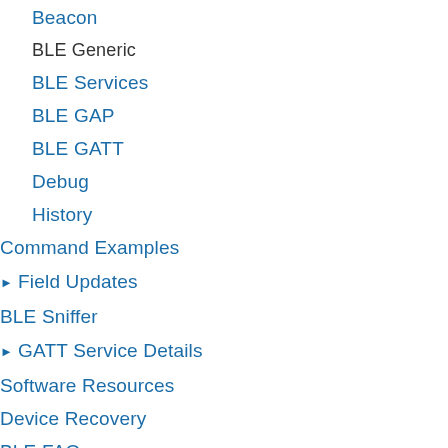Beacon
BLE Generic
BLE Services
BLE GAP
BLE GATT
Debug
History
Command Examples
▶ Field Updates
BLE Sniffer
▶ GATT Service Details
Software Resources
Device Recovery
BLE FAQ